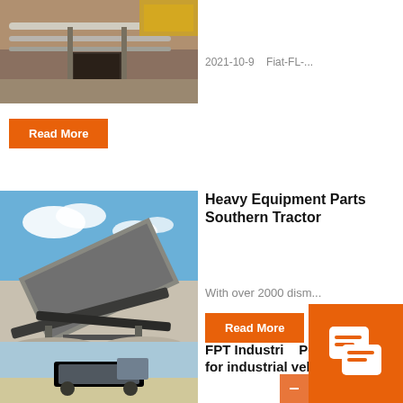[Figure (photo): Industrial mining conveyor/pipeline equipment with rock wall background]
2021-10-9    Fiat-FL-...
Read More
[Figure (photo): Heavy equipment machinery (crusher/screener) in quarry with blue sky]
Heavy Equipment Parts Southern Tractor
With over 2000 dism...
Read More
[Figure (photo): FPT Industrial vehicle in field setting]
FPT Industrial Powertrains for industrial vehicles